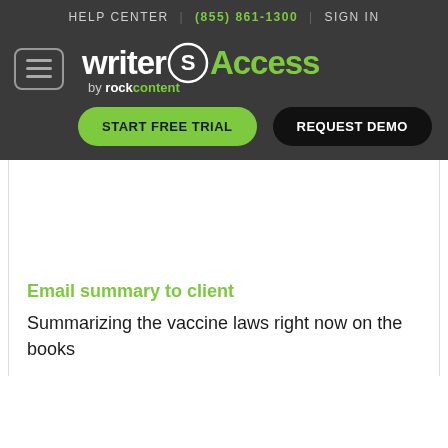HELP CENTER | (855) 861-1300 | SIGN IN
[Figure (logo): WriterAccess by rockcontent logo with hamburger menu icon, START FREE TRIAL and REQUEST DEMO buttons on dark background]
Email summary to client
Summarizing the vaccine laws right now on the books